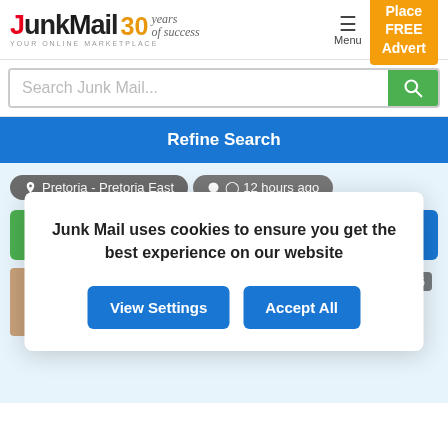[Figure (screenshot): JunkMail logo with '30 years of success' tagline and 'YOUR ONLINE MARKETPLACE' subtitle]
Menu
Place FREE Advert
Search Junk Mail...
Refine Search
Pretoria - Pretoria East
12 hours ago
Contact
Moderated
Junk Mail uses cookies to ensure you get the best experience on our website
View Settings
Accept All